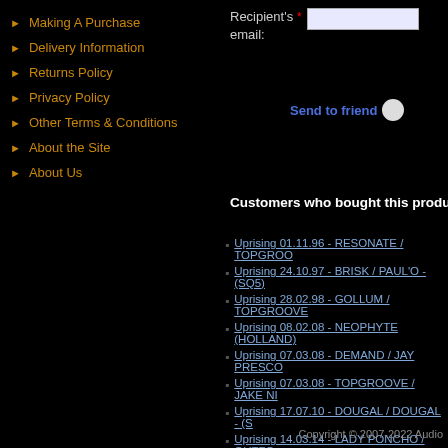Making A Purchase
Delivery Information
Returns Policy
Privacy Policy
Other Terms & Conditions
About the Site
About Us
Recipient's * email:
Send to friend
Customers who bought this product al…
Uprising 01.11.96 - RESONATE / TOPGROO…
Uprising 24.10.97 - BRISK / PAUL'O - (SQ5)
Uprising 28.02.98 - GOLLUM / TOPGROOVE…
Uprising 08.02.08 - NEOPHYTE (HOLLAND)…
Uprising 07.03.08 - DEMAND / JAY PRESCO…
Uprising 07.03.08 - TOPGROOVE / JAKE NI…
Uprising 17.07.10 - DOUGAL / DOUGAL - (S…
Uprising 14.03.14 - LADY PONCHO / OUTFO…
Uprising 01-03-2013 (SQ5) CD6
Compulsion The Return - Innovation Arena…
Copyright © 2007-2022 Audio…